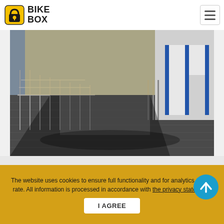[Figure (logo): Bike Box logo with bicycle lock icon and bold text BIKE BOX]
[Figure (photo): Outdoor bicycle parking area with metal racks on paved ground and blue storage box units against a building wall]
BACK TO ALL EXISTING BOXES
The website uses cookies to ensure full functionality and for analytics of visit rate. All information is processed in accordance with the privacy statement.